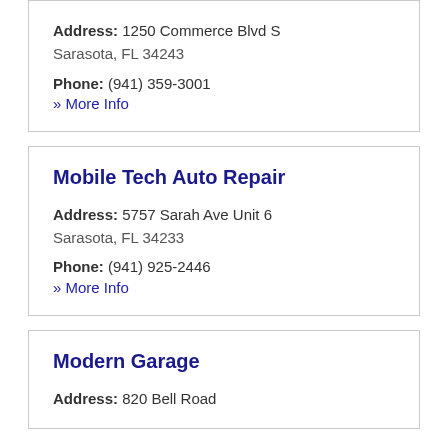Address: 1250 Commerce Blvd S Sarasota, FL 34243
Phone: (941) 359-3001
» More Info
Mobile Tech Auto Repair
Address: 5757 Sarah Ave Unit 6 Sarasota, FL 34233
Phone: (941) 925-2446
» More Info
Modern Garage
Address: 820 Bell Road